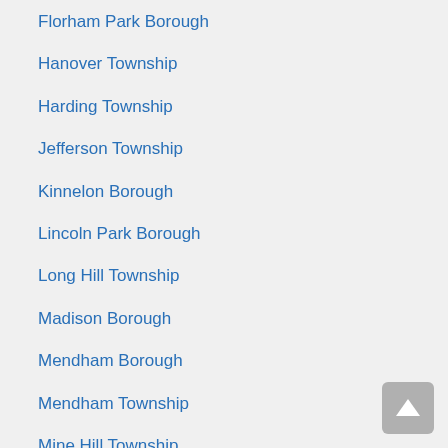Florham Park Borough
Hanover Township
Harding Township
Jefferson Township
Kinnelon Borough
Lincoln Park Borough
Long Hill Township
Madison Borough
Mendham Borough
Mendham Township
Mine Hill Township
Montville Township
Morris Plains Borough